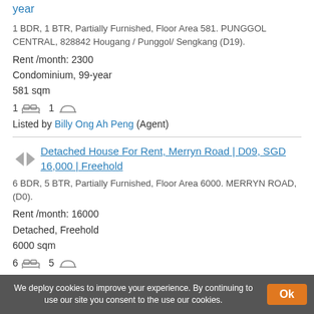year
1 BDR, 1 BTR, Partially Furnished, Floor Area 581. PUNGGOL CENTRAL, 828842 Hougang / Punggol/ Sengkang (D19).
Rent /month: 2300
Condominium, 99-year
581 sqm
1 bed  1 bath
Listed by Billy Ong Ah Peng (Agent)
Detached House For Rent, Merryn Road | D09, SGD 16,000 | Freehold
6 BDR, 5 BTR, Partially Furnished, Floor Area 6000. MERRYN ROAD, (D0).
Rent /month: 16000
Detached, Freehold
6000 sqm
6 bed  5 bath
Listed by Meilinda Soetedjo (Agent)
We deploy cookies to improve your experience. By continuing to use our site you consent to the use our cookies.